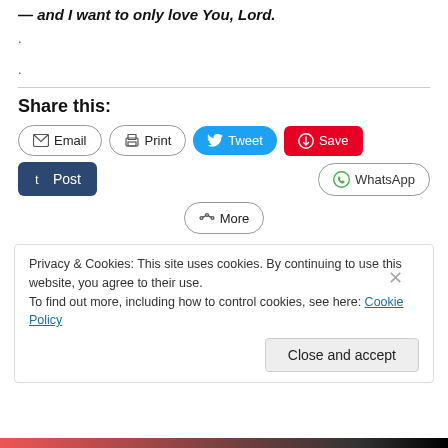— and I want to only love You, Lord.
.
.
Share this:
Email  Print  Tweet  Save
Post  WhatsApp
More
Privacy & Cookies: This site uses cookies. By continuing to use this website, you agree to their use.
To find out more, including how to control cookies, see here: Cookie Policy
Close and accept